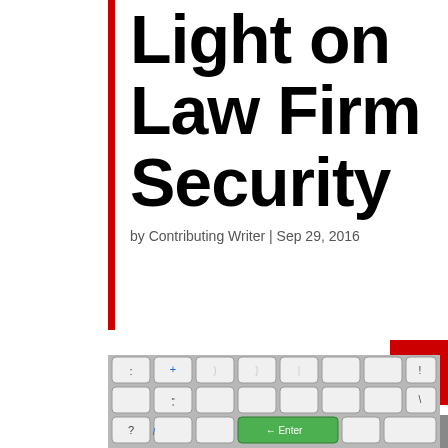Light on Law Firm Security
by Contributing Writer | Sep 29, 2016
[Figure (photo): Close-up photograph of a computer keyboard with white keys, showing symbols including Enter key highlighted in green, colon, plus, quotation marks, question mark, and backslash keys visible]